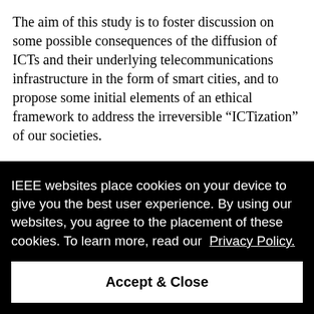The aim of this study is to foster discussion on some possible consequences of the diffusion of ICTs and their underlying telecommunications infrastructure in the form of smart cities, and to propose some initial elements of an ethical framework to address the irreversible “ICTization” of our societies.
IEEE websites place cookies on your device to give you the best user experience. By using our websites, you agree to the placement of these cookies. To learn more, read our Privacy Policy.
Accept & Close
...w different users and social groups understand the